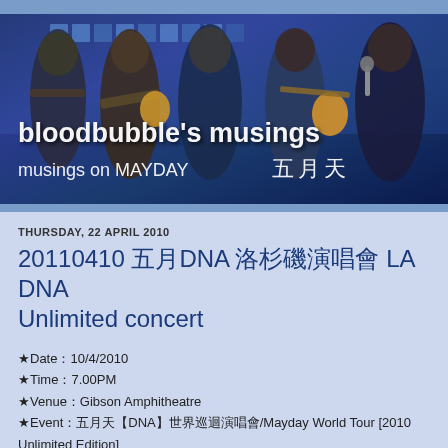[Figure (photo): Concert photo of Mayday (五月天) band performing on stage with guitars and microphones, with blue background lighting. Blog header image for 'bloodbubble's musings - musings on MAYDAY 五月天']
bloodbubble's musings
musings on MAYDAY 五月天
THURSDAY, 22 APRIL 2010
20110410 五月DNA 洛杉磯演唱會 LA DNA Unlimited concert
★Date：10/4/2010
★Time：7.00PM
★Venue：Gibson Amphitheatre
★Event：五月天【DNA】世界巡迴演唱會/Mayday World Tour [2010 Unlimited Edition]